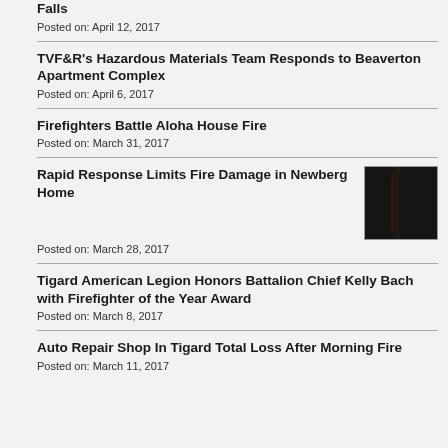Falls
Posted on: April 12, 2017
TVF&R's Hazardous Materials Team Responds to Beaverton Apartment Complex
Posted on: April 6, 2017
Firefighters Battle Aloha House Fire
Posted on: March 31, 2017
Rapid Response Limits Fire Damage in Newberg Home
[Figure (photo): Dark photo showing fire damage interior of a home]
Posted on: March 28, 2017
Tigard American Legion Honors Battalion Chief Kelly Bach with Firefighter of the Year Award
Posted on: March 8, 2017
Auto Repair Shop In Tigard Total Loss After Morning Fire
Posted on: March 11, 2017